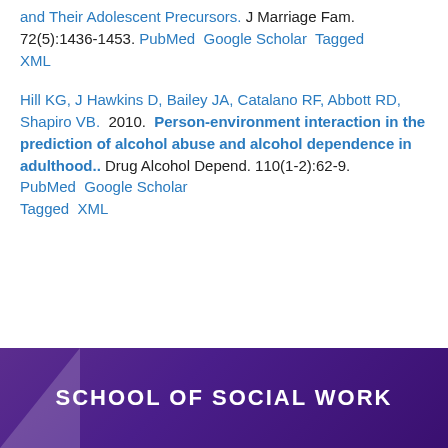and Their Adolescent Precursors. J Marriage Fam. 72(5):1436-1453. PubMed Google Scholar Tagged XML
Hill KG, J Hawkins D, Bailey JA, Catalano RF, Abbott RD, Shapiro VB. 2010. Person-environment interaction in the prediction of alcohol abuse and alcohol dependence in adulthood.. Drug Alcohol Depend. 110(1-2):62-9. PubMed Google Scholar Tagged XML
SCHOOL OF SOCIAL WORK